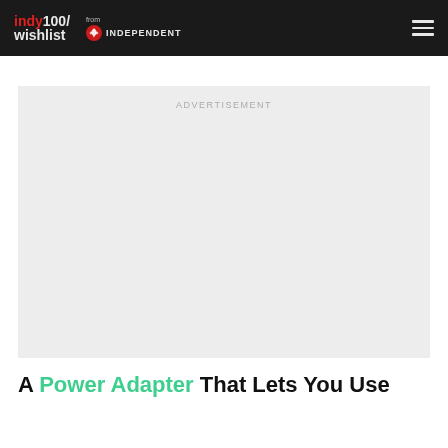indy100/wishlist from INDEPENDENT
[Figure (other): Advertisement placeholder box with 'ADVERTISEMENT' label in light gray]
A Power Adapter That Lets You Use